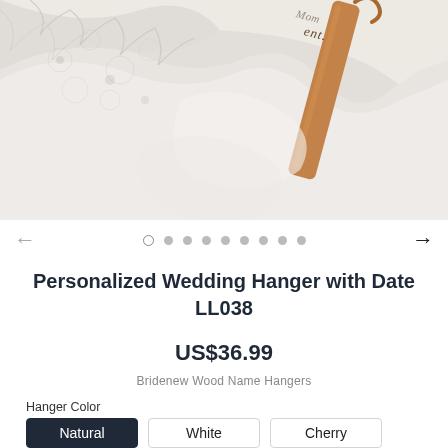[Figure (photo): Close-up photo of white lace wedding fabric draped over a wooden personalized hanger with cursive name engraving, on a white background.]
Personalized Wedding Hanger with Date LL038
US$36.99
Bridenew Wood Name Hangers
Hanger Color
Natural
White
Cherry